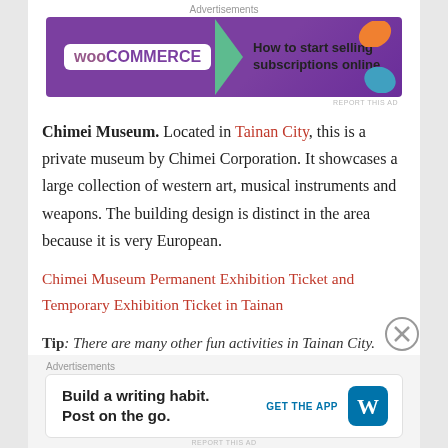[Figure (screenshot): WooCommerce advertisement banner: purple background with WooCommerce logo on left, green arrow, text 'How to start selling subscriptions online', orange and blue leaf decorations on right]
Chimei Museum. Located in Tainan City, this is a private museum by Chimei Corporation. It showcases a large collection of western art, musical instruments and weapons. The building design is distinct in the area because it is very European.
Chimei Museum Permanent Exhibition Ticket and Temporary Exhibition Ticket in Tainan
Tip: There are many other fun activities in Tainan City. Explore the city. Book your fun activities, here.
[Figure (screenshot): WordPress advertisement banner: white background with text 'Build a writing habit. Post on the go.' and 'GET THE APP' button with WordPress logo]